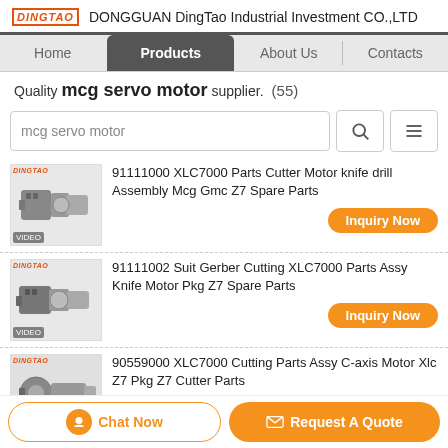DINGTAO   DONGGUAN DingTao Industrial Investment CO.,LTD
Home  |  Products  |  About Us  |  Contacts
Quality mcg servo motor supplier. (55)
mcg servo motor [search]
[Figure (photo): Product thumbnail for 91111000 XLC7000 Parts Cutter Motor knife drill Assembly Mcg Gmc Z7 Spare Parts, with DINGTAO logo and VIDEO label]
91111000 XLC7000 Parts Cutter Motor knife drill Assembly Mcg Gmc Z7 Spare Parts
Inquiry Now
[Figure (photo): Product thumbnail for 91111002 Suit Gerber Cutting XLC7000 Parts Assy Knife Motor Pkg Z7 Spare Parts, with DINGTAO logo and VIDEO label]
91111002 Suit Gerber Cutting XLC7000 Parts Assy Knife Motor Pkg Z7 Spare Parts
Inquiry Now
[Figure (photo): Product thumbnail for 90559000 XLC7000 Cutting Parts Assy C-axis Motor Xlc Z7 Pkg Z7 Cutter Parts]
90559000 XLC7000 Cutting Parts Assy C-axis Motor Xlc Z7 Pkg Z7 Cutter Parts
Chat Now   Request A Quote